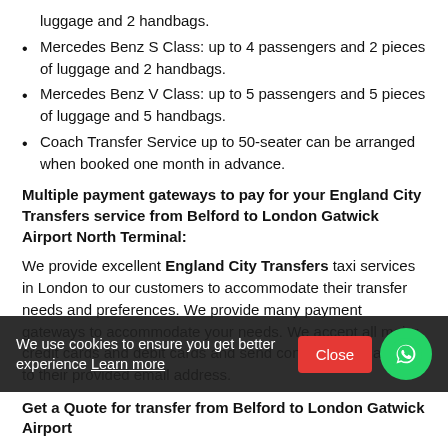luggage and 2 handbags.
Mercedes Benz S Class: up to 4 passengers and 2 pieces of luggage and 2 handbags.
Mercedes Benz V Class: up to 5 passengers and 5 pieces of luggage and 5 handbags.
Coach Transfer Service up to 50-seater can be arranged when booked one month in advance.
Multiple payment gateways to pay for your England City Transfers service from Belford to London Gatwick Airport North Terminal:
We provide excellent England City Transfers taxi services in London to our customers to accommodate their transfer needs and preferences. We provide many payment gateways to accommodate your needs. We accept all major credit cards and debit cards and send confirmation via mail to their provided email address.
Comfortable free baby seats for your England Airport Transfer service from Belford to London Gatwick Airport North Terminal
We also provide comfortable baby seats and booster seats our customers and there are no extra charges
We use cookies to ensure you get better experience Learn more
Get a Quote for transfer from Belford to London Gatwick Airport